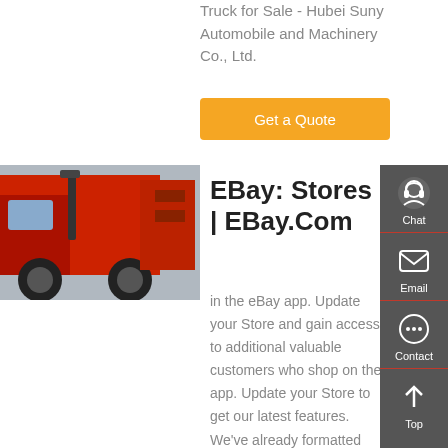Truck for Sale - Hubei Suny Automobile and Machinery Co., Ltd.
Get a Quote
[Figure (photo): Red garbage/refuse truck photographed from the side, showing cab and rear compactor body.]
EBay: Stores | EBay.Com
in the eBay app. Update your Store and gain access to additional valuable customers who shop on the app. Update your Store to get our latest features. We've already formatted your Store information